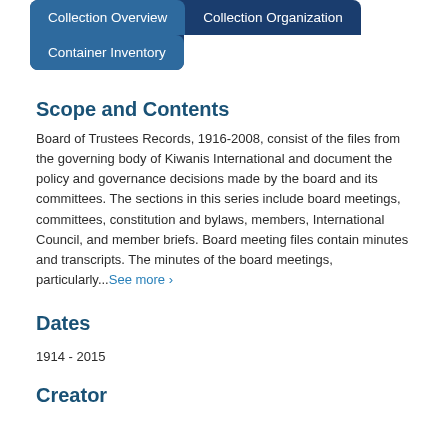Collection Overview  Collection Organization  Container Inventory
Scope and Contents
Board of Trustees Records, 1916-2008, consist of the files from the governing body of Kiwanis International and document the policy and governance decisions made by the board and its committees. The sections in this series include board meetings, committees, constitution and bylaws, members, International Council, and member briefs. Board meeting files contain minutes and transcripts. The minutes of the board meetings, particularly...See more ›
Dates
1914 - 2015
Creator